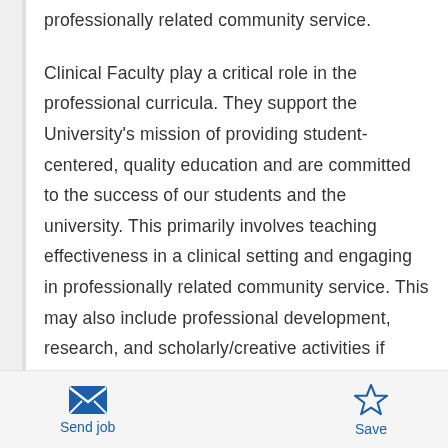professionally related community service.
Clinical Faculty play a critical role in the professional curricula. They support the University's mission of providing student-centered, quality education and are committed to the success of our students and the university. This primarily involves teaching effectiveness in a clinical setting and engaging in professionally related community service. This may also include professional development, research, and scholarly/creative activities if assigned, institutional service, professional service, student advising and involvement, and supervisory responsibilities as
Send job | Save